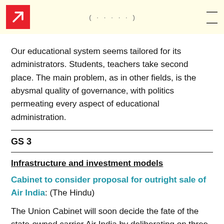Our educational system seems tailored for its administrators. Students, teachers take second place. The main problem, as in other fields, is the abysmal quality of governance, with politics permeating every aspect of educational administration.
GS 3
Infrastructure and investment models
Cabinet to consider proposal for outright sale of Air India: (The Hindu)
The Union Cabinet will soon decide the fate of the state-owned carrier Air India by deliberating on three options to